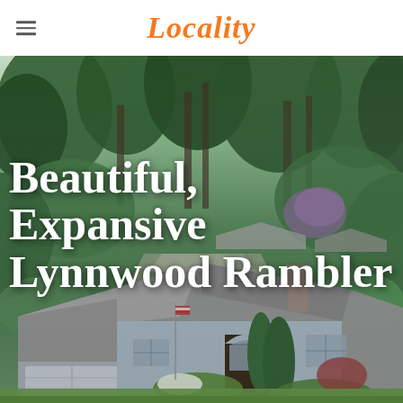Locality
[Figure (photo): Aerial/elevated exterior photo of a large single-story rambler home in Lynnwood, WA, surrounded by tall evergreen trees and lush green landscaping. The house has a gray shingle roof, light gray/blue siding, arched entry, attached garage, and manicured front yard with ornamental trees.]
Beautiful, Expansive Lynnwood Rambler